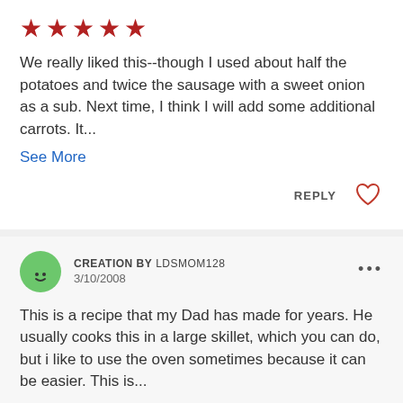[Figure (other): Five red star rating icons]
We really liked this--though I used about half the potatoes and twice the sausage with a sweet onion as a sub. Next time, I think I will add some additional carrots. It...
See More
REPLY
[Figure (other): Heart outline icon]
[Figure (other): Green circle avatar with smiley face]
CREATION BY LDSMOM128
3/10/2008
...
This is a recipe that my Dad has made for years. He usually cooks this in a large skillet, which you can do, but i like to use the oven sometimes because it can be easier. This is...
See More